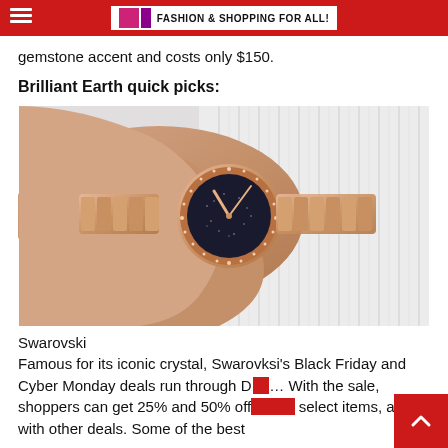FASHION & SHOPPING FOR ALL!
gemstone accent and costs only $150.
Brilliant Earth quick picks:
[Figure (photo): A woman's wrist wearing a rose gold Swarovski watch with a black crystal-encrusted dial, on a white ribbed fabric background.]
Swarovski
Famous for its iconic crystal, Swarovksi's Black Friday and Cyber Monday deals run through D... With the sale, shoppers can get 25% and 50% off select items, along with other deals. Some of the best...